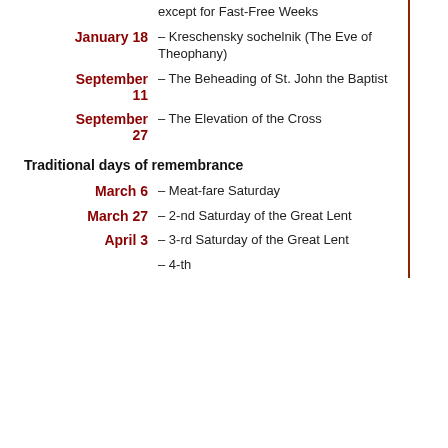| Date | Description |
| --- | --- |
|  | except for Fast-Free Weeks |
| January 18 | – Kreschensky sochelnik (The Eve of Theophany) |
| September 11 | – The Beheading of St. John the Baptist |
| September 27 | – The Elevation of the Cross |
Traditional days of remembrance
| Date | Description |
| --- | --- |
| March 6 | – Meat-fare Saturday |
| March 27 | – 2-nd Saturday of the Great Lent |
| April 3 | – 3-rd Saturday of the Great Lent |
|  | – 4-th... |